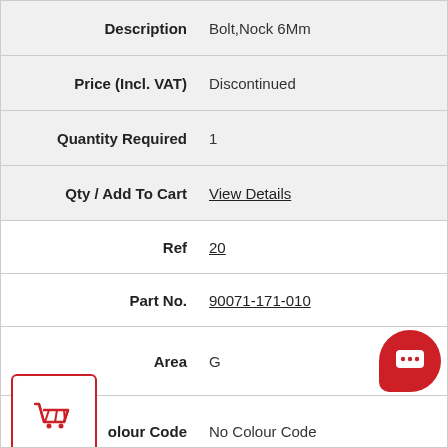| Field | Value |
| --- | --- |
| Description | Bolt,Nock 6Mm |
| Price (Incl. VAT) | Discontinued |
| Quantity Required | 1 |
| Qty / Add To Cart | View Details |
| Ref | 20 |
| Part No. | 90071-171-010 |
| Area | G |
| Colour Code | No Colour Code |
| Description | Bolt, Knock, 6Mm |